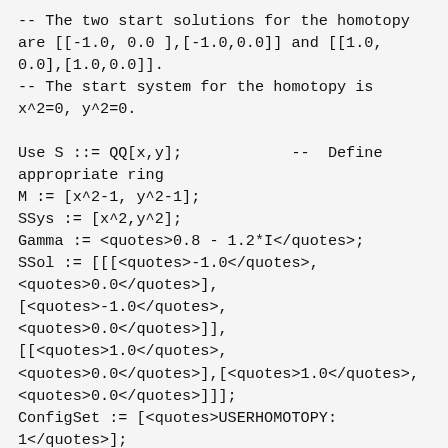-- The two start solutions for the homotopy are [[-1.0, 0.0 ],[-1.0,0.0]] and [[1.0, 0.0],[1.0,0.0]].
-- The start system for the homotopy is x^2=0, y^2=0.

Use S ::= QQ[x,y];            --  Define appropriate ring
M := [x^2-1, y^2-1];
SSys := [x^2,y^2];
Gamma := <quotes>0.8 - 1.2*I</quotes>;
SSol := [[[<quotes>-1.0</quotes>, <quotes>0.0</quotes>], [<quotes>-1.0</quotes>, <quotes>0.0</quotes>]], [[<quotes>1.0</quotes>, <quotes>0.0</quotes>],[<quotes>1.0</quotes>, <quotes>0.0</quotes>]]];
ConfigSet := [<quotes>USERHOMOTOPY: 1</quotes>];